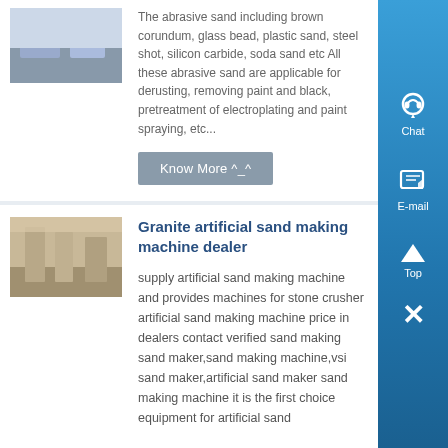[Figure (photo): Small thumbnail photo of an industrial outdoor facility or building (top of first card)]
The abrasive sand including brown corundum, glass bead, plastic sand, steel shot, silicon carbide, soda sand etc All these abrasive sand are applicable for derusting, removing paint and black, pretreatment of electroplating and paint spraying, etc...
Know More ^_^
Granite artificial sand making machine dealer
[Figure (photo): Small thumbnail photo of an indoor facility or workshop (bottom card)]
supply artificial sand making machine and provides machines for stone crusher artificial sand making machine price in dealers contact verified sand making sand maker,sand making machine,vsi sand maker,artificial sand maker sand making machine it is the first choice equipment for artificial sand